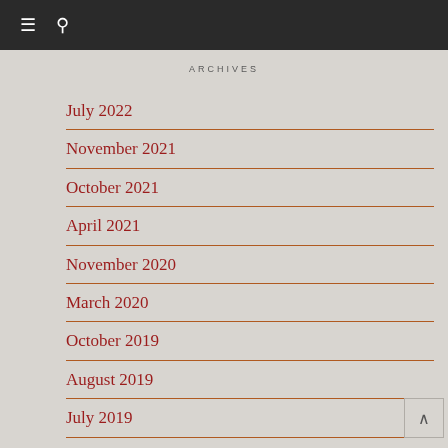≡ 🔍
ARCHIVES
July 2022
November 2021
October 2021
April 2021
November 2020
March 2020
October 2019
August 2019
July 2019
June 2019